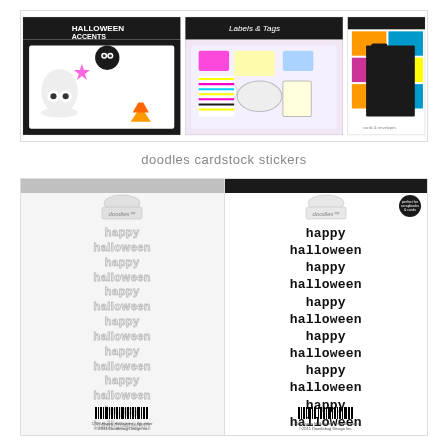[Figure (photo): Three Halloween-themed product packages: 'Halloween Accents' with cute ghost, spider, and candy corn doodles; 'Labels & Tags' with colorful Halloween label shapes; and a 'Cards & Envelopes' set with black, yellow, teal, and purple cards and envelopes. Doodlebug Design branding visible.]
doodles cardstock stickers
[Figure (photo): Two doodles cardstock sticker sheets for Happy Halloween. Left sheet shows outline/ghost style repeating 'happy halloween' words on grey background. Right sheet shows solid black 'happy halloween' repeated words on white background with doodles branding and barcode. Both have grey and black header bars respectively.]